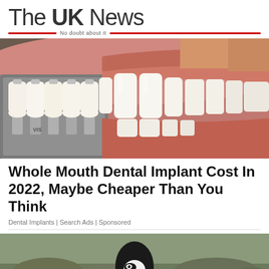The UK News — No doubt about it
[Figure (photo): Close-up photo of dental veneers/implants being compared against a person's teeth using a shade guide tool. Multiple white tooth-shaped samples on metal prongs are held up against a smiling mouth.]
Whole Mouth Dental Implant Cost In 2022, Maybe Cheaper Than You Think
Dental Implants | Search Ads | Sponsored
[Figure (photo): Photo of a penguin standing on rocky/grassy terrain, partial view showing the top portion of the image.]